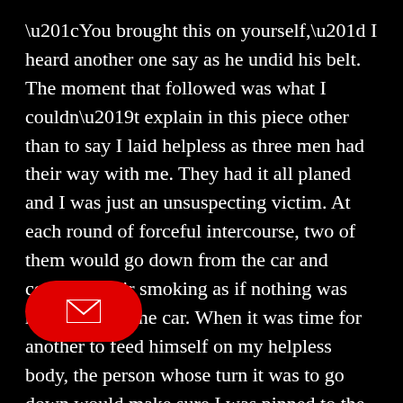“You brought this on yourself,” I heard another one say as he undid his belt. The moment that followed was what I couldn’t explain in this piece other than to say I laid helpless as three men had their way with me. They had it all planed and I was just an unsuspecting victim. At each round of forceful intercourse, two of them would go down from the car and continue their smoking as if nothing was happening in the car. When it was time for another to feed himself on my helpless body, the person whose turn it was to go down would make sure I was pinned to the seat until that would take over from him was ready and was on top of me.

I had always enjoyed sex with any man of my
[Figure (other): Red rounded rectangle button with white envelope/email icon overlay]